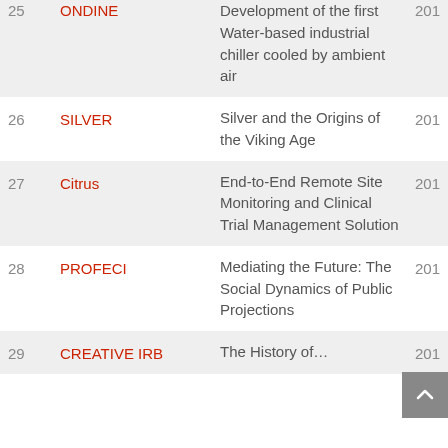| # | Project | Title | Year |
| --- | --- | --- | --- |
| 25 | ONDINE | Development of the first Water-based industrial chiller cooled by ambient air | 201… |
| 26 | SILVER | Silver and the Origins of the Viking Age | 201… |
| 27 | Citrus | End-to-End Remote Site Monitoring and Clinical Trial Management Solution | 201… |
| 28 | PROFECI | Mediating the Future: The Social Dynamics of Public Projections | 201… |
| 29 | CREATIVE IRB | The History of… | 201… |